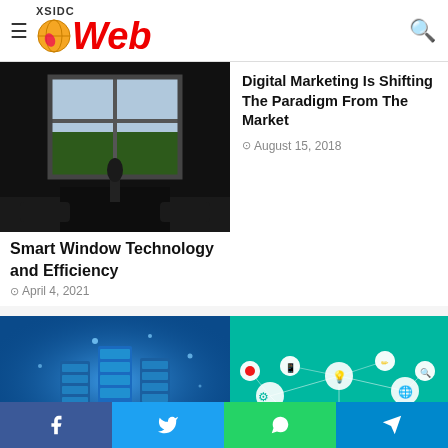XSIDC Web
[Figure (photo): Dark room interior with a window showing trees and sky, desk with monitor silhouette]
Digital Marketing Is Shifting The Paradigm From The Market
August 15, 2018
Smart Window Technology and Efficiency
April 4, 2021
[Figure (photo): Blue glowing server racks in cloud, digital technology concept]
What Are The Benefits Offered by Web-Based
[Figure (photo): Teal background with silhouettes of people and connected icons representing digital marketing and technology]